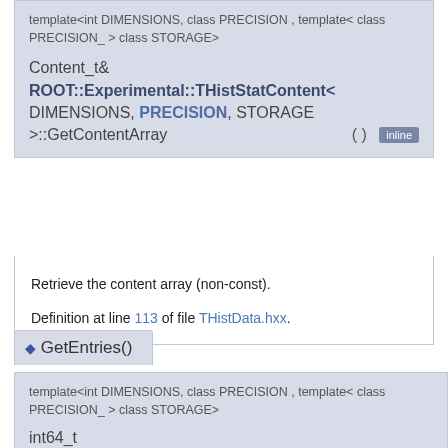template<int DIMENSIONS, class PRECISION , template< class PRECISION_ > class STORAGE>
Content_t& ROOT::Experimental::THistStatContent< DIMENSIONS, PRECISION, STORAGE >::GetContentArray ( ) inline
Retrieve the content array (non-const).
Definition at line 113 of file THistData.hxx.
◆ GetEntries()
template<int DIMENSIONS, class PRECISION , template< class PRECISION_ > class STORAGE>
int64_t ROOT::Experimental::THistStatContent< DIMENSIONS, PRECISION, STORAGE >::GetEntries ( ) const